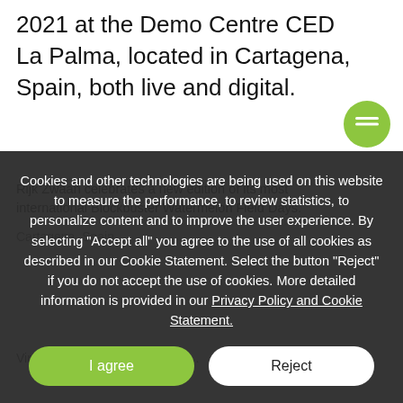2021 at the Demo Centre CED La Palma, located in Cartagena, Spain, both live and digital.
Cookies and other technologies are being used on this website to measure the performance, to review statistics, to personalize content and to improve the user experience. By selecting "Accept all" you agree to the use of all cookies as described in our Cookie Statement. Select the button "Reject" if you do not accept the use of cookies. More detailed information is provided in our Privacy Policy and Cookie Statement.
I agree
Reject